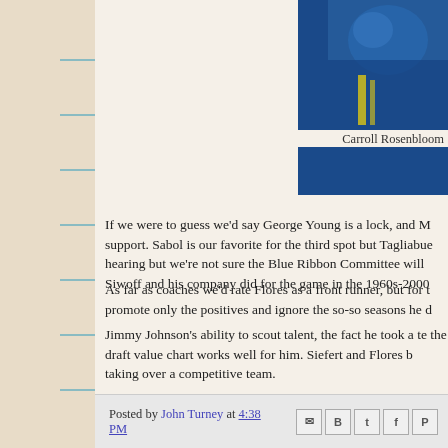[Figure (photo): Partial photo of Carroll Rosenbloom, showing blue colors]
Carroll Rosenbloom
If we were to guess we'd say George Young is a lock, and M support. Sabol is our favorite for the third spot but Tagliabue hearing but we're not sure the Blue Ribbon Committee will Siwoff and his company did for the game in the 1960s-2000
As far as coaches we'd rate Flores as a front runner, but for t promote only the positives and ignore the so-so seasons he d
Jimmy Johnson's ability to scout talent, the fact he took a te the draft value chart works well for him. Siefert and Flores b taking over a competitive team.
It will be an interesting process and we will follow it for yo
Posted by John Turney at 4:38 PM